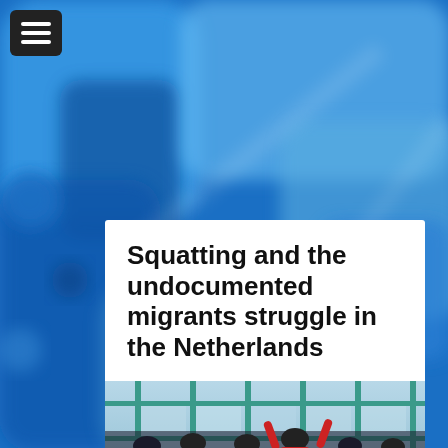[Figure (photo): Blurred blue background showing abstract blue tones, possibly a blurred urban or transport scene]
[Figure (logo): Hamburger menu icon (three white horizontal lines) on dark rounded square background]
Squatting and the undocumented migrants struggle in the Netherlands
[Figure (photo): People on scaffolding or building facade with teal/green metal frame structure, one person in red jacket raising arms]